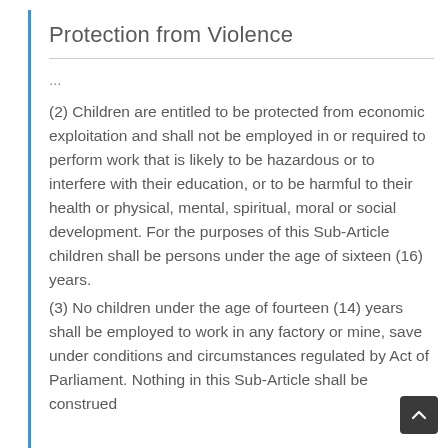Protection from Violence
...
(2) Children are entitled to be protected from economic exploitation and shall not be employed in or required to perform work that is likely to be hazardous or to interfere with their education, or to be harmful to their health or physical, mental, spiritual, moral or social development. For the purposes of this Sub-Article children shall be persons under the age of sixteen (16) years.
(3) No children under the age of fourteen (14) years shall be employed to work in any factory or mine, save under conditions and circumstances regulated by Act of Parliament. Nothing in this Sub-Article shall be construed